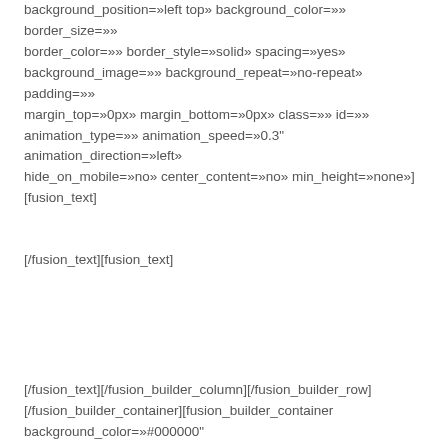background_position=»left top» background_color=»» border_size=»» border_color=»» border_style=»solid» spacing=»yes» background_image=»» background_repeat=»no-repeat» padding=»» margin_top=»0px» margin_bottom=»0px» class=»» id=»» animation_type=»» animation_speed=»0.3" animation_direction=»left» hide_on_mobile=»no» center_content=»no» min_height=»none»] [fusion_text]
[/fusion_text][fusion_text]
[/fusion_text][/fusion_builder_column][/fusion_builder_row] [/fusion_builder_container][fusion_builder_container background_color=»#000000" background_image=»http://chocola.im...